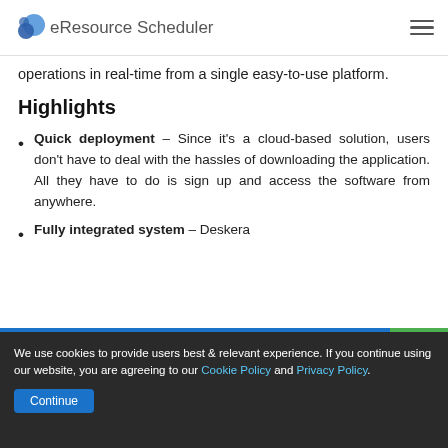eResource Scheduler
operations in real-time from a single easy-to-use platform.
Highlights
Quick deployment – Since it's a cloud-based solution, users don't have to deal with the hassles of downloading the application. All they have to do is sign up and access the software from anywhere.
Fully integrated system – Deskera
We use cookies to provide users best & relevant experience. If you continue using our website, you are agreeing to our Cookie Policy and Privacy Policy. Continue